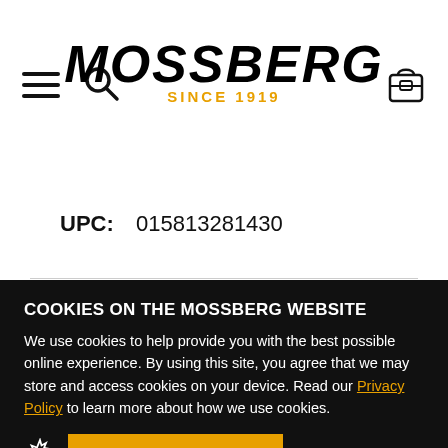[Figure (logo): Mossberg logo with hamburger menu icon, search icon, and bag/backpack icon in the header area]
UPC:  015813281430
COOKIES ON THE MOSSBERG WEBSITE
We use cookies to help provide you with the best possible online experience. By using this site, you agree that we may store and access cookies on your device. Read our Privacy Policy to learn more about how we use cookies.
ALLOW COOKIES